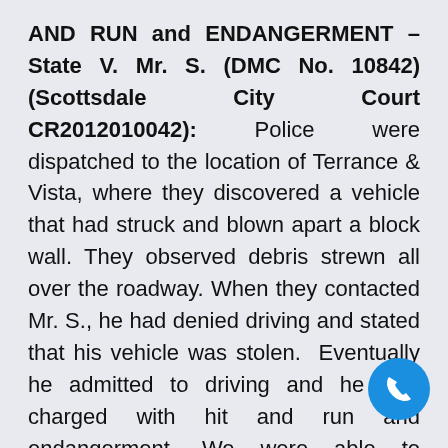AND RUN and ENDANGERMENT – State V. Mr. S. (DMC No. 10842) (Scottsdale City Court CR2012010042): Police were dispatched to the location of Terrance & Vista, where they discovered a vehicle that had struck and blown apart a block wall. They observed debris strewn all over the roadway. When they contacted Mr. S., he had denied driving and stated that his vehicle was stolen. Eventually he admitted to driving and he was charged with hit and run and endangerment. We were able to convince the prosecutor that nobody was endangered (other than Mr. S.), and that the hit and run charge should also be dismissed in exchanged for a reckless driving plea involving no jail time. We also convinced the prosecutor to not charge Mr. S. for false reporting to a